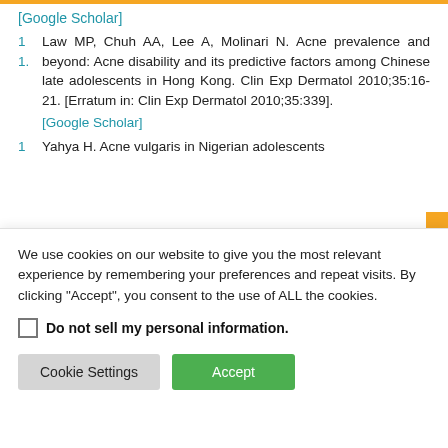[Google Scholar]
1 Law MP, Chuh AA, Lee A, Molinari N. Acne prevalence and beyond: Acne disability and its predictive factors among Chinese late adolescents in Hong Kong. Clin Exp Dermatol 2010;35:16-21. [Erratum in: Clin Exp Dermatol 2010;35:339]. [Google Scholar]
1 Yahya H. Acne vulgaris in Nigerian adolescents
We use cookies on our website to give you the most relevant experience by remembering your preferences and repeat visits. By clicking "Accept", you consent to the use of ALL the cookies.
Do not sell my personal information.